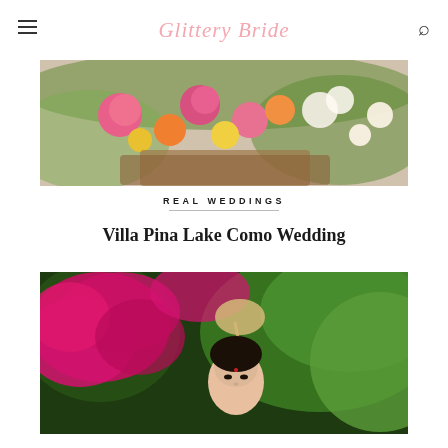Glittery Bride
[Figure (photo): Close-up of colorful bridal bouquet with pink roses, orange flowers, yellow daisies, and white flowers with greenery]
REAL WEDDINGS
Villa Pina Lake Como Wedding
[Figure (photo): Bride surrounded by lush greenery and bright magenta bougainvillea flowers, holding a fan, looking at camera]